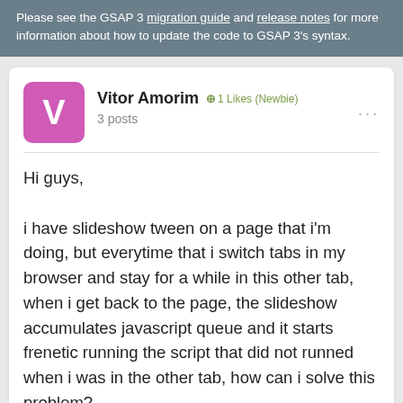Please see the GSAP 3 migration guide and release notes for more information about how to update the code to GSAP 3's syntax.
Vitor Amorim · 1 Likes (Newbie) · 3 posts
Hi guys,

i have slideshow tween on a page that i'm doing, but everytime that i switch tabs in my browser and stay for a while in this other tab, when i get back to the page, the slideshow accumulates javascript queue and it starts frenetic running the script that did not runned when i was in the other tab, how can i solve this problem?